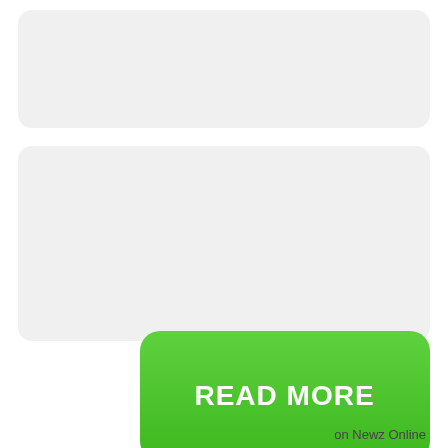[Figure (other): Empty rounded rectangle placeholder box, light gray background]
[Figure (other): Empty rounded rectangle placeholder box, light gray background, taller]
READ MORE
on Newz Online